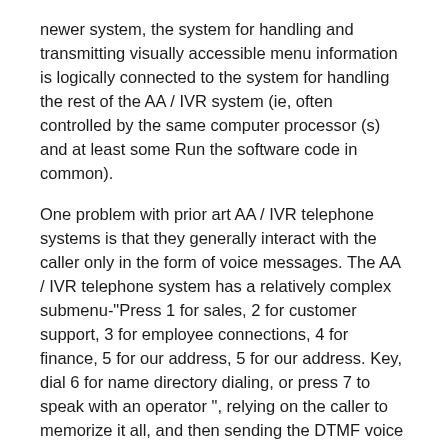newer system, the system for handling and transmitting visually accessible menu information is logically connected to the system for handling the rest of the AA / IVR system (ie, often controlled by the same computer processor (s) and at least some Run the software code in common).
One problem with prior art AA / IVR telephone systems is that they generally interact with the caller only in the form of voice messages. The AA / IVR telephone system has a relatively complex submenu-"Press 1 for sales, 2 for customer support, 3 for employee connections, 4 for finance, 5 for our address, 5 for our address. Key, dial 6 for name directory dialing, or press 7 to speak with an operator ", relying on the caller to memorize it all, and then sending the DTMF voice to the caller. Will interpret the voice response sent back. Current AA / IVR systems do not have any provision for providing text or visual information back to the caller.
As a result, this audio-based response limitation leads to a very slow and often frustrating interactive experience. Audio communication is inherently a serial process-only